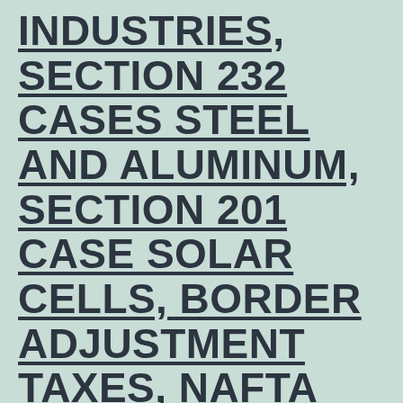INDUSTRIES, SECTION 232 CASES STEEL AND ALUMINUM, SECTION 201 CASE SOLAR CELLS, BORDER ADJUSTMENT TAXES, NAFTA AND 337
TRADE IS A TWO WAY STREET
"PROTECTIONISM BECOMES DESTRUCTIONISM; IT COSTS JOBS"
PRESIDENT RONALD REAGAN, JUNE 28